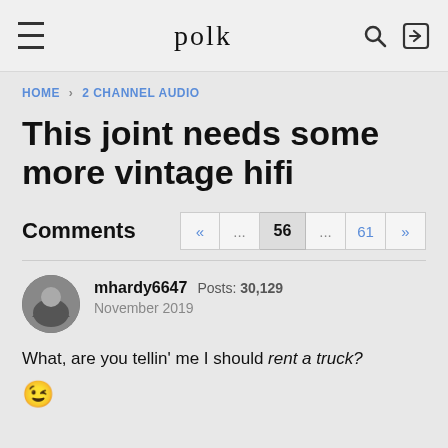polk
HOME › 2 CHANNEL AUDIO
This joint needs some more vintage hifi
Comments
« ... 56 ... 61 »
mhardy6647  Posts: 30,129  November 2019
What, are you tellin' me I should rent a truck?
😉